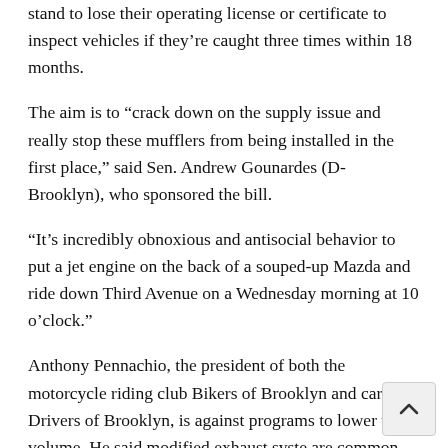stand to lose their operating license or certificate to inspect vehicles if they're caught three times within 18 months.
The aim is to “crack down on the supply issue and really stop these mufflers from being installed in the first place,” said Sen. Andrew Gounardes (D-Brooklyn), who sponsored the bill.
“It’s incredibly obnoxious and antisocial behavior to put a jet engine on the back of a souped-up Mazda and ride down Third Avenue on a Wednesday morning at 10 o’clock.”
Anthony Pennachio, the president of both the motorcycle riding club Bikers of Brooklyn and car club Drivers of Brooklyn, is against programs to lower the volume. He said modified exhaust syste are common on the vehicles of people he knows.